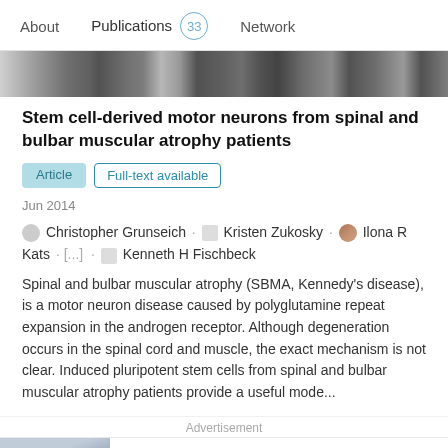About  Publications 33  Network
[Figure (photo): Strip of scientific publication thumbnail images in a horizontal banner]
Stem cell-derived motor neurons from spinal and bulbar muscular atrophy patients
Article  Full-text available
Jun 2014
Christopher Grunseich · Kristen Zukosky · Ilona R Kats · [...] · Kenneth H Fischbeck
Spinal and bulbar muscular atrophy (SBMA, Kennedy's disease), is a motor neuron disease caused by polyglutamine repeat expansion in the androgen receptor. Although degeneration occurs in the spinal cord and muscle, the exact mechanism is not clear. Induced pluripotent stem cells from spinal and bulbar muscular atrophy patients provide a useful mode...
Advertisement
ResearchGate
Searching for qualified engineers?